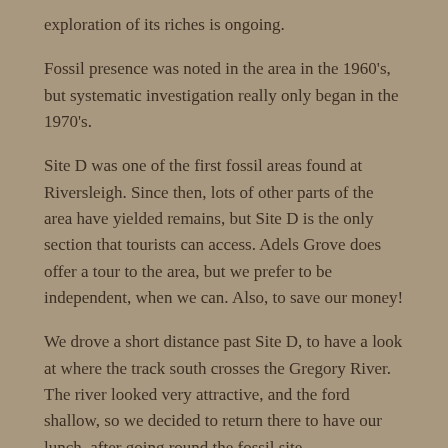exploration of its riches is ongoing.
Fossil presence was noted in the area in the 1960's, but systematic investigation really only began in the 1970's.
Site D was one of the first fossil areas found at Riversleigh. Since then, lots of other parts of the area have yielded remains, but Site D is the only section that tourists can access. Adels Grove does offer a tour to the area, but we prefer to be independent, when we can. Also, to save our money!
We drove a short distance past Site D, to have a look at where the track south crosses the Gregory River. The river looked very attractive, and the ford shallow, so we decided to return there to have our lunch, after going round the fossil site.
The site did not look particularly compelling from the road –